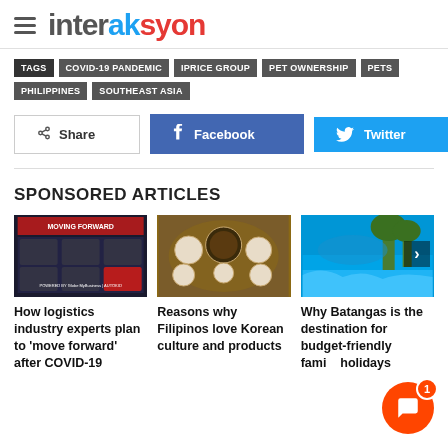interaksyon
TAGS  COVID-19 PANDEMIC  IPRICE GROUP  PET OWNERSHIP  PETS  PHILIPPINES  SOUTHEAST ASIA
Share  Facebook  Twitter
SPONSORED ARTICLES
[Figure (photo): Moving Forward webinar screenshot with multiple video participants, powered by Globe MyBusiness and AutoKid]
How logistics industry experts plan to 'move forward' after COVID-19
[Figure (photo): Overhead photo of Korean food spread with various dishes in bowls]
Reasons why Filipinos love Korean culture and products
[Figure (photo): Pool area at a beach resort in Batangas with palm trees]
Why Batangas is the destination for budget-friendly family holidays